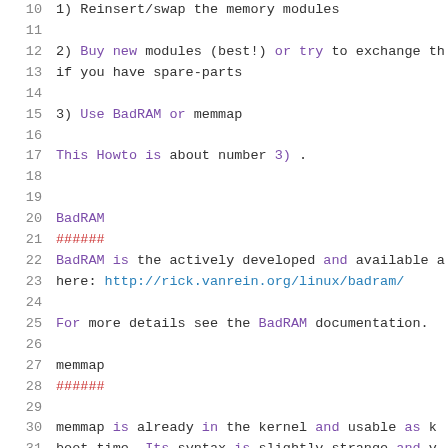10    1) Reinsert/swap the memory modules
11
12    2) Buy new modules (best!) or try to exchange th
13       if you have spare-parts
14
15    3) Use BadRAM or memmap
16
17    This Howto is about number 3) .
18
19
20    BadRAM
21    ######
22    BadRAM is the actively developed and available a
23    here:  http://rick.vanrein.org/linux/badram/
24
25    For more details see the BadRAM documentation.
26
27    memmap
28    ######
29
30    memmap is already in the kernel and usable as k
31    boot-time.  Its syntax is slightly strange and v